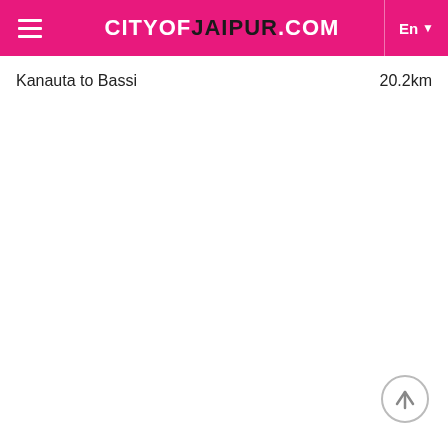CITYOFJAIPUR.COM
Kanauta to Bassi    20.2km